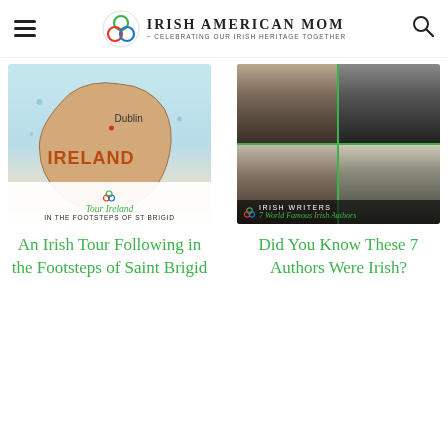Irish American Mom - Celebrating Our Irish Heritage Together
[Figure (photo): Thumbnail image of Ireland map with 'Tour Ireland In the Footsteps of St Brigid' text overlay]
[Figure (photo): Grid of four black and white portraits of Irish writers with 'Irish Writers 7 World Famous Irish Authors' text overlay]
An Irish Tour Following in the Footsteps of Saint Brigid
Did You Know These 7 Authors Were Irish?